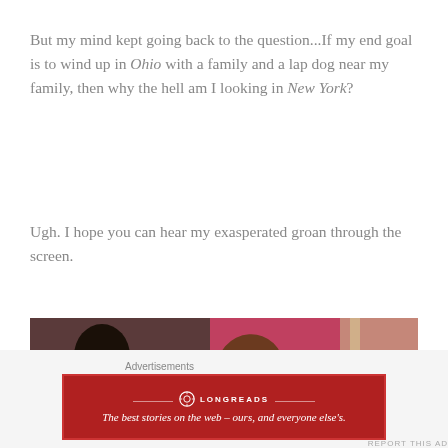But my mind kept going back to the question...If my end goal is to wind up in Ohio with a family and a lap dog near my family, then why the hell am I looking in New York?
Ugh. I hope you can hear my exasperated groan through the screen.
[Figure (photo): A scene showing two people, one tilting their head back as if groaning or laughing, with a reddish/pink curtained background.]
Advertisements
[Figure (logo): Longreads advertisement banner: red background with Longreads logo and tagline 'The best stories on the web – ours, and everyone else's.']